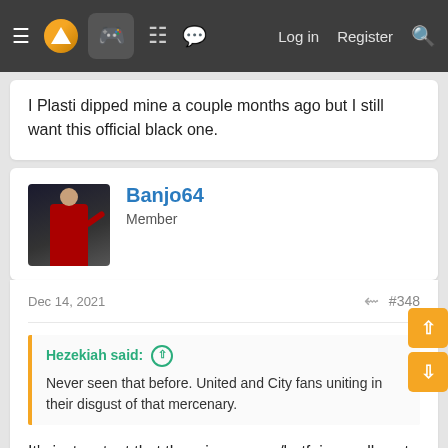≡ [logo] [gamepad] [grid] [chat] Log in Register [search]
I Plasti dipped mine a couple months ago but I still want this official black one.
Banjo64
Member
Dec 14, 2021  #348
Hezekiah said: ↑
Never seen that before. United and City fans uniting in their disgust of that mercenary.
It's just a stunt that the mirror group/betfair usually put on for clicks online/photo op for the papers. Same as the fans who burn shirts, fake most of the time.
In the photo quoted it's the same 3 blokes that are outside OT